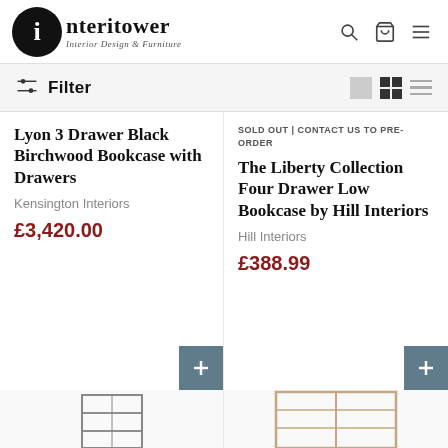[Figure (logo): Interitower Interior Design & Furniture logo with black circle containing letter i]
Filter
SOLD OUT | CONTACT US TO PRE-ORDER
Lyon 3 Drawer Black Birchwood Bookcase with Drawers
Kensington Interiors
£3,420.00
The Liberty Collection Four Drawer Low Bookcase by Hill Interiors
Hill Interiors
£388.99
[Figure (photo): Bookcase product image at bottom left (partial view)]
[Figure (photo): Bookcase product image at bottom right (partial view)]